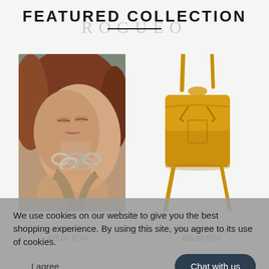FEATURED COLLECTION
ROGUEO
[Figure (photo): Woman lying down wearing a large silver chain necklace, close-up fashion photo]
[Figure (photo): Yellow/mustard leather drawstring crossbody bag with strap, product photo on white background]
Noor Necklace
475.00 RON
Hello Postman Bag
456.00 RON
We use cookies on our website to give you the best shopping experience. By using this site, you agree to its use of cookies.
I agree
Chat with us